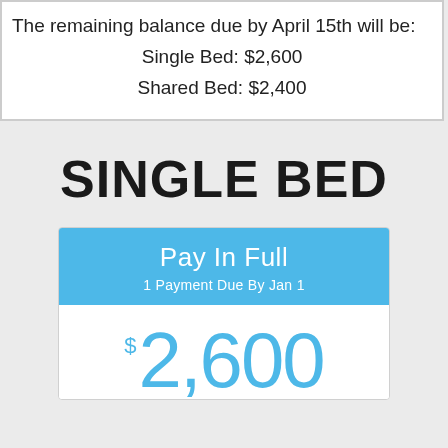The remaining balance due by April 15th will be:
Single Bed: $2,600
Shared Bed: $2,400
SINGLE BED
Pay In Full
1 Payment Due By Jan 1
$2,600